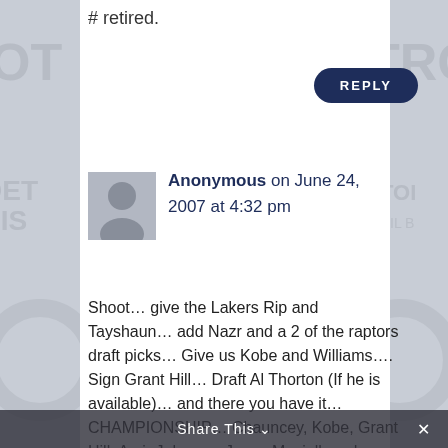# retired.
REPLY
Anonymous on June 24, 2007 at 4:32 pm
Shoot… give the Lakers Rip and Tayshaun… add Nazr and a 2 of the raptors draft picks… Give us Kobe and Williams…. Sign Grant Hill… Draft Al Thorton (If he is available)… and there you have it… CHAMPIONSHIP… Chauncey, Kobe, Grant Hill, Amir Johnson, Jason Maxiell, and Sheed? Thats cash money
Share This